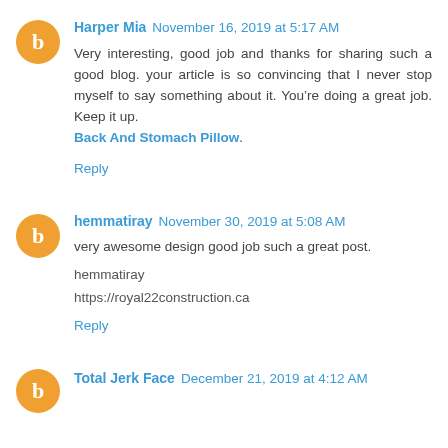Harper Mia  November 16, 2019 at 5:17 AM
Very interesting, good job and thanks for sharing such a good blog. your article is so convincing that I never stop myself to say something about it. You're doing a great job. Keep it up. Back And Stomach Pillow.
Reply
hemmatiray  November 30, 2019 at 5:08 AM
very awesome design good job such a great post.
hemmatiray
https://royal22construction.ca
Reply
Total Jerk Face  December 21, 2019 at 4:12 AM